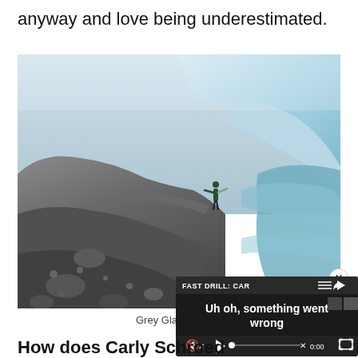anyway and love being underestimated.
[Figure (photo): Person standing on rocky terrain next to a large glacier and turquoise glacial water, viewed from a dramatic angle with misty sky above.]
Grey Glacier,
How does Carly Schroed
[Figure (screenshot): Video player overlay showing 'FAST DRILL: CAR...' title and error message 'Uh oh, something went wrong' with playback controls showing 0:00 timestamp.]